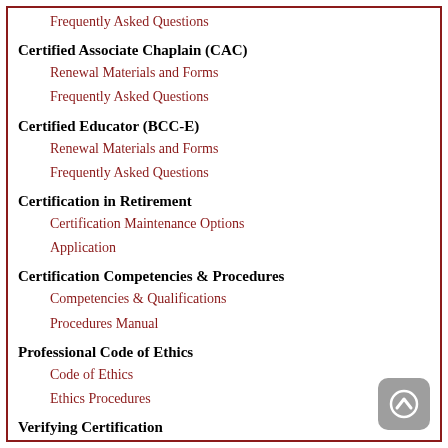Frequently Asked Questions
Certified Associate Chaplain (CAC)
Renewal Materials and Forms
Frequently Asked Questions
Certified Educator (BCC-E)
Renewal Materials and Forms
Frequently Asked Questions
Certification in Retirement
Certification Maintenance Options
Application
Certification Competencies & Procedures
Competencies & Qualifications
Procedures Manual
Professional Code of Ethics
Code of Ethics
Ethics Procedures
Verifying Certification
Member Resources